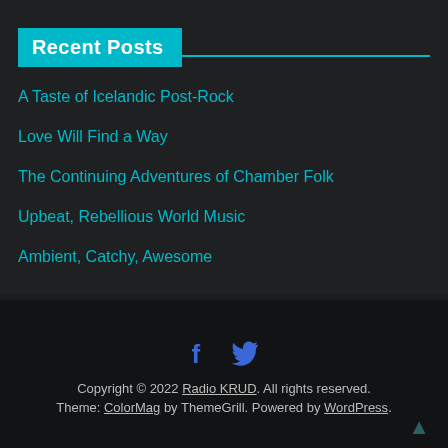Recent Posts
A Taste of Icelandic Post-Rock
Love Will Find a Way
The Continuing Adventures of Chamber Folk
Upbeat, Rebellious World Music
Ambient, Catchy, Awesome
[Figure (infographic): Social media icons: Facebook (f) and Twitter (bird)]
Copyright © 2022 Radio KRUD. All rights reserved. Theme: ColorMag by ThemeGrill. Powered by WordPress.